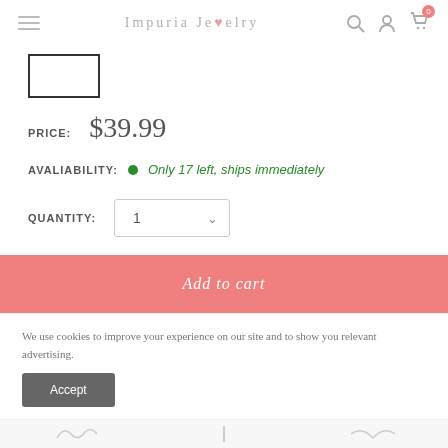Impuria Jewelry
[Figure (screenshot): Small image placeholder box (border outline) in top-left of product area]
PRICE: $39.99
AVALIABILITY: Only 17 left, ships immediately
QUANTITY: 1
Add to cart
We use cookies to improve your experience on our site and to show you relevant advertising.
Accept